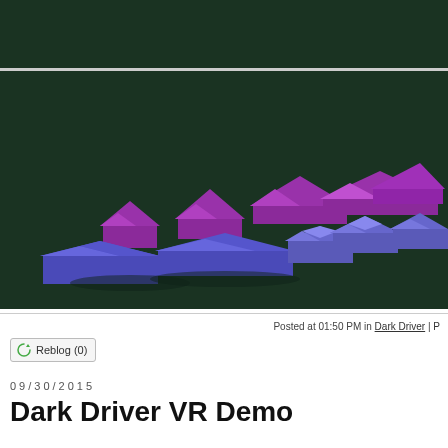[Figure (screenshot): Top dark green navigation bar strip]
[Figure (photo): 3D rendered purple and blue house roof models arranged in rows on a dark green background]
Posted at 01:50 PM in Dark Driver |
[Figure (other): Reblog (0) button with recycling icon]
09/30/2015
Dark Driver VR Demo